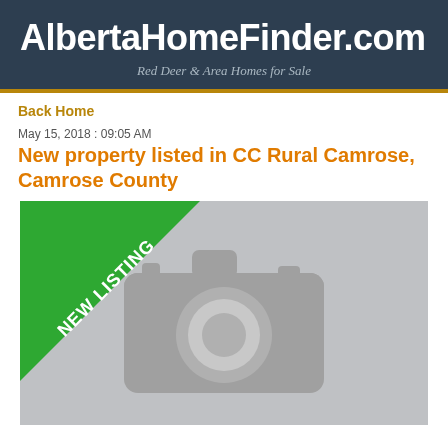AlbertaHomeFinder.com
Red Deer & Area Homes for Sale
Back Home
May 15, 2018 : 09:05 AM
New property listed in CC Rural Camrose, Camrose County
[Figure (photo): Placeholder image showing a grey camera icon with a 'NEW LISTING' diagonal green ribbon banner in the top-left corner]